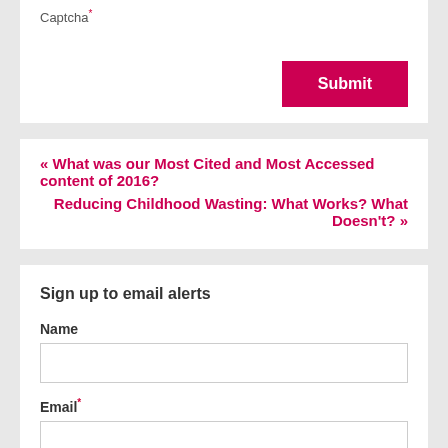Captcha*
Submit
« What was our Most Cited and Most Accessed content of 2016?
Reducing Childhood Wasting: What Works? What Doesn't? »
Sign up to email alerts
Name
Email*
Subscribe